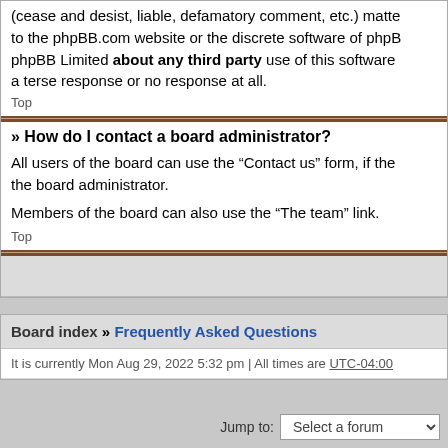(cease and desist, liable, defamatory comment, etc.) matters related to the phpBB.com website or the discrete software of phpBB Limited about any third party use of this software a terse response or no response at all.
Top
» How do I contact a board administrator?
All users of the board can use the “Contact us” form, if the board administrator.
Members of the board can also use the “The team” link.
Top
Board index » Frequently Asked Questions
It is currently Mon Aug 29, 2022 5:32 pm | All times are UTC-04:00
Jump to:  Select a forum